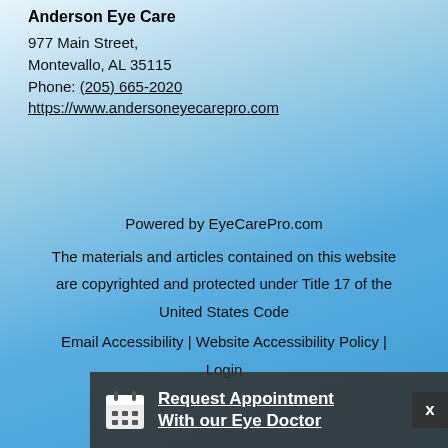Anderson Eye Care
977 Main Street,
Montevallo, AL 35115
Phone: (205) 665-2020
https://www.andersoneyecarepro.com
Powered by EyeCarePro.com
The materials and articles contained on this website are copyrighted and protected under Title 17 of the United States Code
Email Accessibility | Website Accessibility Policy |
Login
Request Appointment With our Eye Doctor